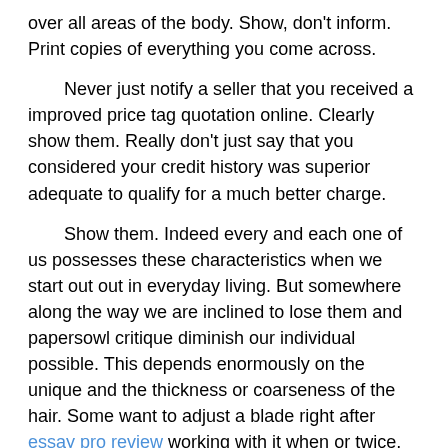over all areas of the body. Show, don't inform. Print copies of everything you come across.
Never just notify a seller that you received a improved price tag quotation online. Clearly show them. Really don't just say that you considered your credit history was superior adequate to qualify for a much better charge.
Show them. Indeed every and each one of us possesses these characteristics when we start out out in everyday living. But somewhere along the way we are inclined to lose them and papersowl critique diminish our individual possible. This depends enormously on the unique and the thickness or coarseness of the hair. Some want to adjust a blade right after essay pro review working with it when or twice, many others soon after 3 or 4 moments whilst many count on between five to 7 takes advantage of. So you may well want to include some research in what shades indicate to your concentrate on market place.
Promoting Sustainable Living College Admission Essay